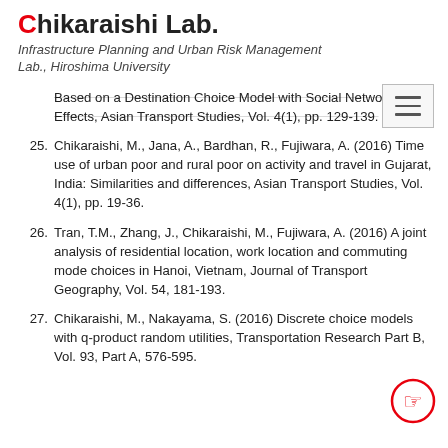Chikaraishi Lab. Infrastructure Planning and Urban Risk Management Lab., Hiroshima University
Based on a Destination Choice Model with Social Network Effects, Asian Transport Studies, Vol. 4(1), pp. 129-139.
25. Chikaraishi, M., Jana, A., Bardhan, R., Fujiwara, A. (2016) Time use of urban poor and rural poor on activity and travel in Gujarat, India: Similarities and differences, Asian Transport Studies, Vol. 4(1), pp. 19-36.
26. Tran, T.M., Zhang, J., Chikaraishi, M., Fujiwara, A. (2016) A joint analysis of residential location, work location and commuting mode choices in Hanoi, Vietnam, Journal of Transport Geography, Vol. 54, 181-193.
27. Chikaraishi, M., Nakayama, S. (2016) Discrete choice models with q-product random utilities, Transportation Research Part B, Vol. 93, Part A, 576-595.